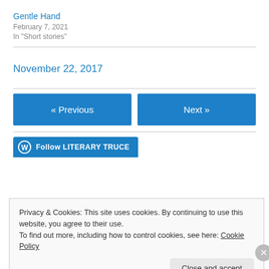Gentle Hand
February 7, 2021
In "Short stories"
November 22, 2017
« Previous
Next »
Follow LITERARY TRUCE
Privacy & Cookies: This site uses cookies. By continuing to use this website, you agree to their use.
To find out more, including how to control cookies, see here: Cookie Policy
Close and accept